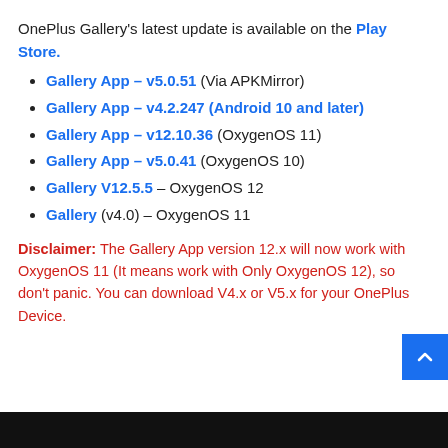OnePlus Gallery's latest update is available on the Play Store.
Gallery App – v5.0.51 (Via APKMirror)
Gallery App – v4.2.247 (Android 10 and later)
Gallery App – v12.10.36 (OxygenOS 11)
Gallery App – v5.0.41 (OxygenOS 10)
Gallery V12.5.5 – OxygenOS 12
Gallery (v4.0) – OxygenOS 11
Disclaimer: The Gallery App version 12.x will now work with OxygenOS 11 (It means work with Only OxygenOS 12), so don't panic. You can download V4.x or V5.x for your OnePlus Device.